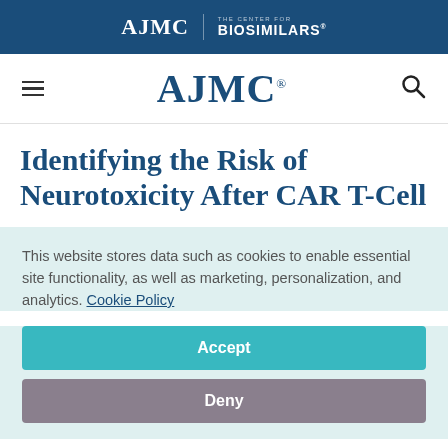AJMC | THE CENTER FOR BIOSIMILARS
[Figure (logo): AJMC navigation bar with hamburger menu and search icon]
Identifying the Risk of Neurotoxicity After CAR T-Cell
This website stores data such as cookies to enable essential site functionality, as well as marketing, personalization, and analytics. Cookie Policy
Accept
Deny